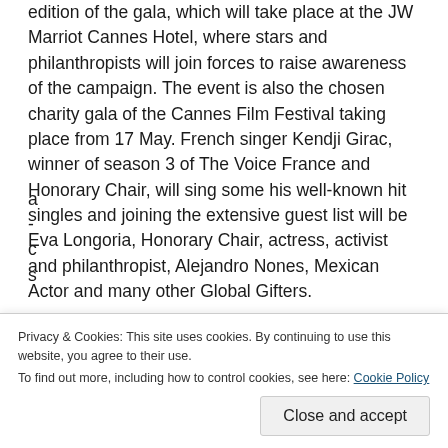edition of the gala, which will take place at the JW Marriot Cannes Hotel, where stars and philanthropists will join forces to raise awareness of the campaign. The event is also the chosen charity gala of the Cannes Film Festival taking place from 17 May. French singer Kendji Girac, winner of season 3 of The Voice France and Honorary Chair, will sing some his well-known hit singles and joining the extensive guest list will be Eva Longoria, Honorary Chair, actress, activist and philanthropist, Alejandro Nones, Mexican Actor and many other Global Gifters.
During the evening will be a live auction led by leading British auctioneer, Thomas Forrester, and amongst the items available for bidding will be the Woonkly Solidarity NFT, supported by a ... fund created by Young Philanthropists and Global Gifters
Privacy & Cookies: This site uses cookies. By continuing to use this website, you agree to their use.
To find out more, including how to control cookies, see here: Cookie Policy
Close and accept